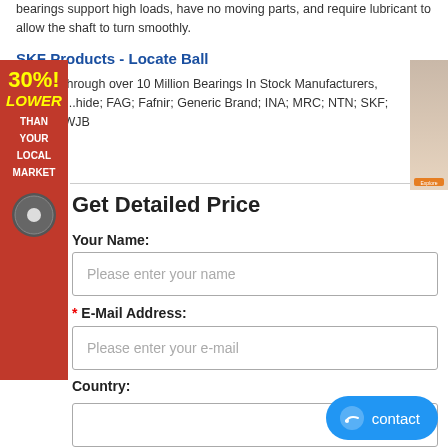bearings support high loads, have no moving parts, and require lubricant to allow the shaft to turn smoothly.
SKF Products - Locate Ball
Search Through over 10 Million Bearings In Stock Manufacturers, Chicago ...hide; FAG; Fafnir; Generic Brand; INA; MRC; NTN; SKF; Timken; WJB
[Figure (infographic): Red advertisement banner on left side showing '30%! LOWER THAN YOUR LOCAL MARKET' with a circular badge at bottom]
[Figure (photo): Small photo ad on right side showing a woman's face with an orange button below]
Get Detailed Price
Your Name:
Please enter your name
* E-Mail Address:
Please enter your e-mail
Country:
[Figure (screenshot): Blue contact button with chat icon in bottom right corner]